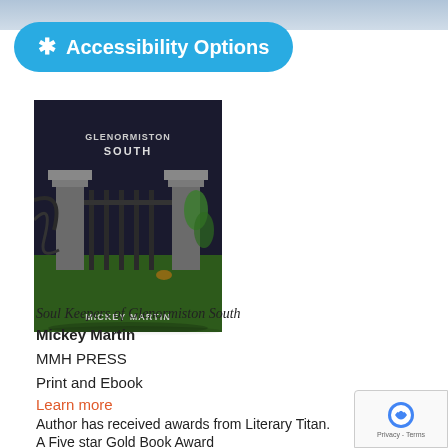[Figure (screenshot): Partial image strip at top of page, appears to be a cropped photo]
[Figure (other): Accessibility Options button overlay in blue with person icon]
[Figure (photo): Book cover of 'Soul Keepers of Glenormiston South' by Mickey Martin showing a dark cemetery gate with stone pillars and green foliage]
Soul Keepers of Glenormiston South
Mickey Martin
MMH PRESS
Print and Ebook
Learn more
Author has received awards from Literary Titan.
A Five star Gold Book Award